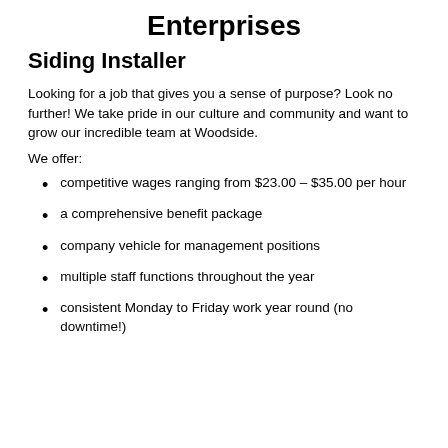Enterprises
Siding Installer
Looking for a job that gives you a sense of purpose? Look no further! We take pride in our culture and community and want to grow our incredible team at Woodside.
We offer:
competitive wages ranging from $23.00 – $35.00 per hour
a comprehensive benefit package
company vehicle for management positions
multiple staff functions throughout the year
consistent Monday to Friday work year round (no downtime!)